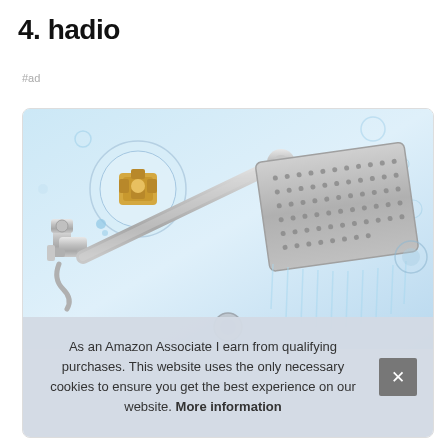4. hadio
#ad
[Figure (photo): Product photo of a chrome rain shower head with wall-mounted arm and valve fittings, set against a water-splash background]
As an Amazon Associate I earn from qualifying purchases. This website uses the only necessary cookies to ensure you get the best experience on our website. More information